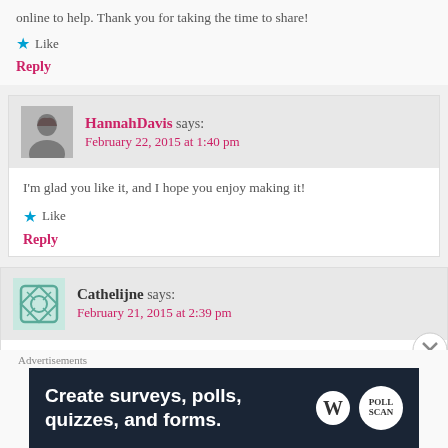online to help. Thank you for taking the time to share!
★ Like
Reply
HannahDavis says:
February 22, 2015 at 1:40 pm
I'm glad you like it, and I hope you enjoy making it!
★ Like
Reply
Cathelijne says:
February 21, 2015 at 2:39 pm
[Figure (screenshot): Advertisement banner: 'Create surveys, polls, quizzes, and forms.' with WordPress and PollScam logos on dark navy background]
Advertisements